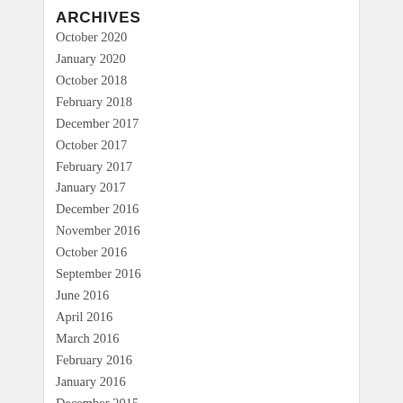ARCHIVES
October 2020
January 2020
October 2018
February 2018
December 2017
October 2017
February 2017
January 2017
December 2016
November 2016
October 2016
September 2016
June 2016
April 2016
March 2016
February 2016
January 2016
December 2015
November 2015